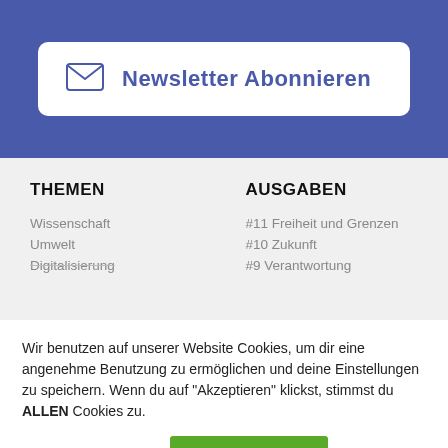Newsletter Abonnieren
THEMEN
Wissenschaft
Umwelt
Digitalisierung
AUSGABEN
#11 Freiheit und Grenzen
#10 Zukunft
#9 Verantwortung
Wir benutzen auf unserer Website Cookies, um dir eine angenehme Benutzung zu ermöglichen und deine Einstellungen zu speichern. Wenn du auf "Akzeptieren" klickst, stimmst du ALLEN Cookies zu.
Mehr Einstellungen  AKZEPTIEREN